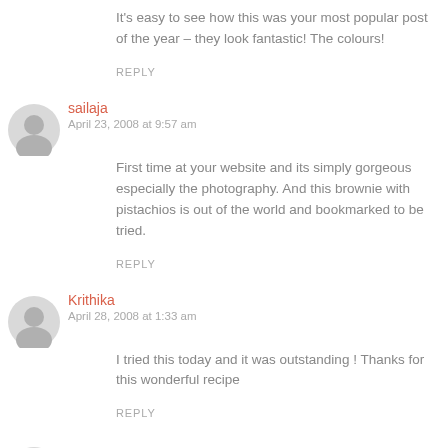It's easy to see how this was your most popular post of the year – they look fantastic! The colours!
REPLY
sailaja
April 23, 2008 at 9:57 am
First time at your website and its simply gorgeous especially the photography. And this brownie with pistachios is out of the world and bookmarked to be tried.
REPLY
Krithika
April 28, 2008 at 1:33 am
I tried this today and it was outstanding ! Thanks for this wonderful recipe
REPLY